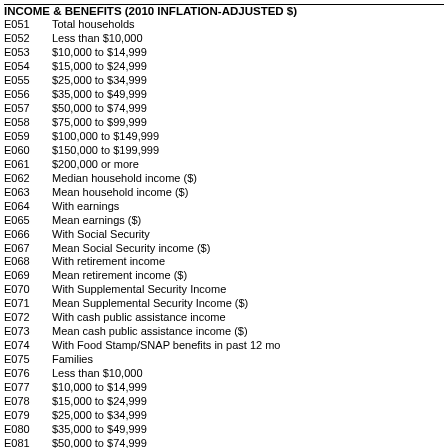INCOME & BENEFITS (2010 INFLATION-ADJUSTED $)
| Code | Description |
| --- | --- |
| E051 | Total households |
| E052 | Less than $10,000 |
| E053 | $10,000 to $14,999 |
| E054 | $15,000 to $24,999 |
| E055 | $25,000 to $34,999 |
| E056 | $35,000 to $49,999 |
| E057 | $50,000 to $74,999 |
| E058 | $75,000 to $99,999 |
| E059 | $100,000 to $149,999 |
| E060 | $150,000 to $199,999 |
| E061 | $200,000 or more |
| E062 | Median household income ($) |
| E063 | Mean household income ($) |
| E064 | With earnings |
| E065 | Mean earnings ($) |
| E066 | With Social Security |
| E067 | Mean Social Security income ($) |
| E068 | With retirement income |
| E069 | Mean retirement income ($) |
| E070 | With Supplemental Security Income |
| E071 | Mean Supplemental Security Income ($) |
| E072 | With cash public assistance income |
| E073 | Mean cash public assistance income ($) |
| E074 | With Food Stamp/SNAP benefits in past 12 mo |
| E075 | Families |
| E076 | Less than $10,000 |
| E077 | $10,000 to $14,999 |
| E078 | $15,000 to $24,999 |
| E079 | $25,000 to $34,999 |
| E080 | $35,000 to $49,999 |
| E081 | $50,000 to $74,999 |
| E082 | $75,000 to $99,999 |
| E083 | $100,000 to $149,999 |
| E084 | $150,000 to $199,999 |
| E085 | $200,000 or more |
| E086 | Median family income ($) |
| E087 | Mean family income ($) |